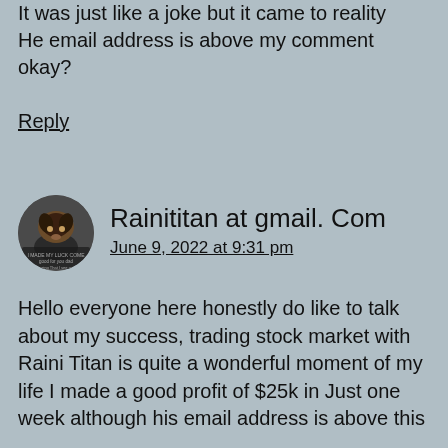It was just like a joke but it came to reality He email address is above my comment okay?
Reply
Rainititan at gmail. Com
June 9, 2022 at 9:31 pm
Hello everyone here honestly do like to talk about my success, trading stock market with Raini Titan is quite a wonderful moment of my life I made a good profit of $25k in Just one week although his email address is above this